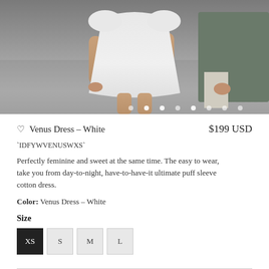[Figure (photo): Product photo of a woman in a white puff sleeve cotton dress, walking with someone, outdoor setting. Carousel dots visible at bottom of image.]
Venus Dress – White   $199 USD
`IDFYWVENUSWXS`
Perfectly feminine and sweet at the same time. The easy to wear, take you from day-to-night, have-to-have-it ultimate puff sleeve cotton dress.
Color: Venus Dress – White
Size
XS  S  M  L